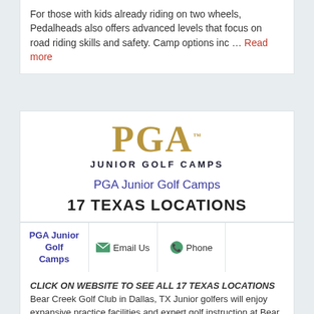For those with kids already riding on two wheels, Pedalheads also offers advanced levels that focus on road riding skills and safety. Camp options inc … Read more
[Figure (logo): PGA Junior Golf Camps logo with gold PGA text and dark JUNIOR GOLF CAMPS subtitle]
PGA Junior Golf Camps
17 TEXAS LOCATIONS
| PGA Junior Golf Camps | Email Us | Phone |  |
| --- | --- | --- | --- |
CLICK ON WEBSITE TO SEE ALL 17 TEXAS LOCATIONS Bear Creek Golf Club in Dallas, TX Junior golfers will enjoy expansive practice facilities and expert golf instruction at Bear Creek Golf Club. Juniors will enhance their full swing at Bear Creek's large driving range featuring 40 hitting stations, or fine-tune their short game on the large putting greens and two chipping areas, complete with bunkers and contoured grass.